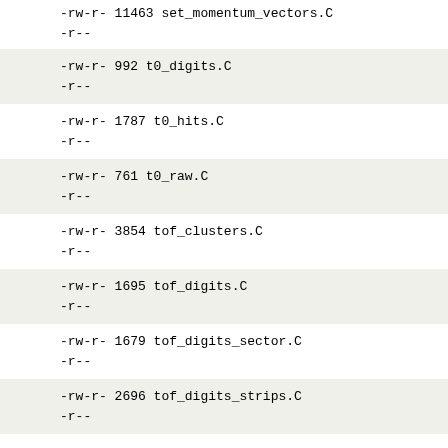-rw-r-  11463 set_momentum_vectors.C
-r--
-rw-r-    992 t0_digits.C
-r--
-rw-r-   1787 t0_hits.C
-r--
-rw-r-    761 t0_raw.C
-r--
-rw-r-   3854 tof_clusters.C
-r--
-rw-r-   1695 tof_digits.C
-r--
-rw-r-   1679 tof_digits_sector.C
-r--
-rw-r-   2696 tof_digits_strips.C
-r--